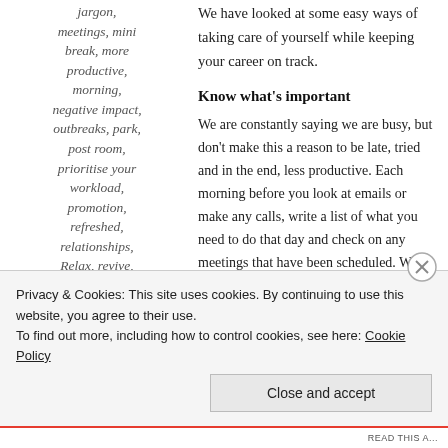jargon, meetings, mini break, more productive, morning, negative impact, outbreaks, park, post room, prioritise your workload, promotion, refreshed, relationships, Relax, revive, sandwiches, sea, sleep
We have looked at some easy ways of taking care of yourself while keeping your career on track.
Know what's important
We are constantly saying we are busy, but don't make this a reason to be late, tried and in the end, less productive. Each morning before you look at emails or make any calls, write a list of what you need to do that day and check on any meetings that have been scheduled. When you prioritise your workload, it is easier to have a stress-free day and if additional tasks come in, look at just how important they are before dropping your original plans.
Privacy & Cookies: This site uses cookies. By continuing to use this website, you agree to their use.
To find out more, including how to control cookies, see here: Cookie Policy
Close and accept
READ THIS A...